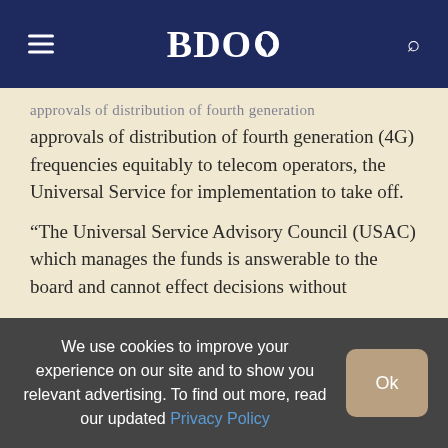BDO
approvals of distribution of fourth generation (4G) frequencies equitably to telecom operators, the Universal Service for implementation to take off.
“The Universal Service Advisory Council (USAC) which manages the funds is answerable to the board and cannot effect decisions without
We use cookies to improve your experience on our site and to show you relevant advertising. To find out more, read our updated Privacy Policy